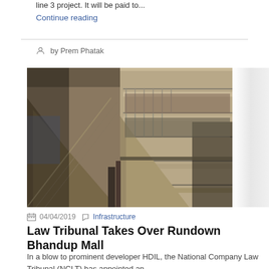line 3 project. It will be paid to...
Continue reading
by Prem Phatak
[Figure (photo): Interior of a rundown multi-story mall showing broken escalators and multiple floors with railings, dimly lit]
04/04/2019  Infrastructure
Law Tribunal Takes Over Rundown Bhandup Mall
In a blow to prominent developer HDIL, the National Company Law Tribunal (NCLT) has appointed an...